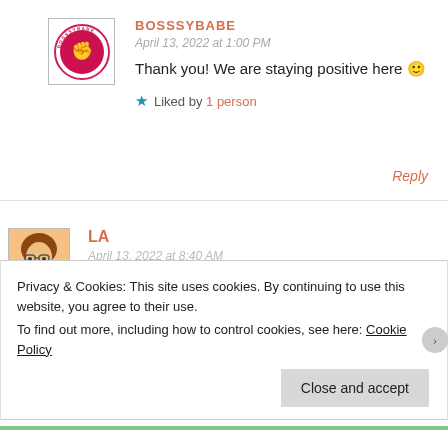[Figure (logo): Circular logo with text around the border and icon in center, in a square border]
BOSSSYBABE
April 13, 2022 at 1:00 PM
Thank you! We are staying positive here 🙂
★ Liked by 1 person
Reply
[Figure (illustration): Avatar of a woman with brown hair and glasses]
LA
April 13, 2022 at 8:40 AM
Privacy & Cookies: This site uses cookies. By continuing to use this website, you agree to their use.
To find out more, including how to control cookies, see here: Cookie Policy
Close and accept